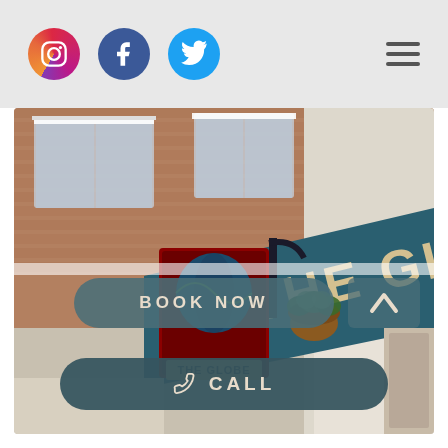Social media icons (Instagram, Facebook, Twitter) and hamburger menu
[Figure (photo): Exterior photo of The Globe pub showing the pub sign with globe graphic, the large blue fascia with 'THE GLOBE' lettering in gold, brick building facade, white window frames, hanging flower basket, and pub entrance]
BOOK NOW
CALL